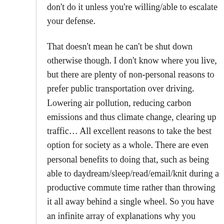don't do it unless you're willing/able to escalate your defense.
That doesn't mean he can't be shut down otherwise though. I don't know where you live, but there are plenty of non-personal reasons to prefer public transportation over driving. Lowering air pollution, reducing carbon emissions and thus climate change, clearing up traffic… All excellent reasons to take the best option for society as a whole. There are even personal benefits to doing that, such as being able to daydream/sleep/read/email/knit during a productive commute time rather than throwing it all away behind a single wheel. So you have an infinite array of explanations why you prefer your own commute, and you can manage simultaneously to more-or[CLOSE]btly imply that he's a selfish ass for driving (especially as your workplace is clearly accessible by public transport).